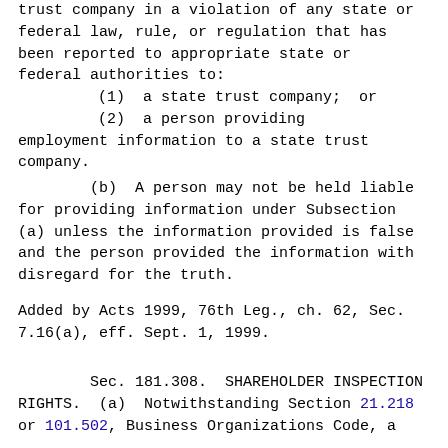trust company in a violation of any state or federal law, rule, or regulation that has been reported to appropriate state or federal authorities to:
(1)  a state trust company;  or
(2)  a person providing employment information to a state trust company.
(b)  A person may not be held liable for providing information under Subsection (a) unless the information provided is false and the person provided the information with disregard for the truth.
Added by Acts 1999, 76th Leg., ch. 62, Sec. 7.16(a), eff. Sept. 1, 1999.
Sec. 181.308.  SHAREHOLDER INSPECTION RIGHTS.  (a)  Notwithstanding Section 21.218 or 101.502, Business Organizations Code, a